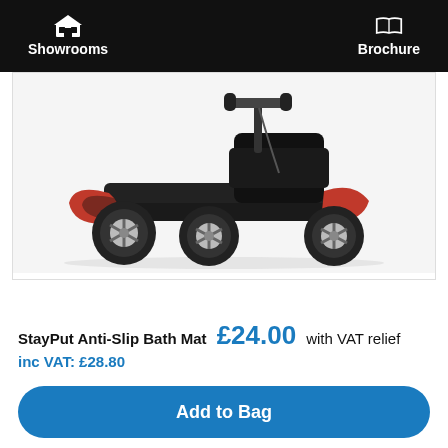Showrooms  Brochure
[Figure (photo): Mobility scooter (Pride Go Go Elite Traveller Sport) shown from the front-right angle, with red/black body, four wheels with silver hub caps, on white background]
Pride Go Go Elite Traveller Sport Mobility Scooter
StayPut Anti-Slip Bath Mat  £24.00 with VAT relief  inc VAT: £28.80
Add to Bag